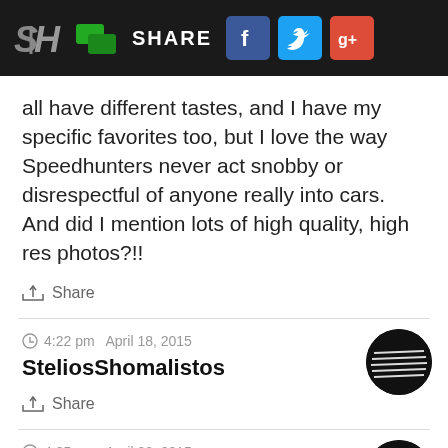SH | [chat icon] SHARE [Facebook] [Twitter] [Google+]
all have different tastes, and I have my specific favorites too, but I love the way Speedhunters never act snobby or disrespectful of anyone really into cars. And did I mention lots of high quality, high res photos?!!
Share
4:22 pm  April 18, 2015
SteliosShomalistos
Share
4:25 am  April 20, 2015
Speedhunters